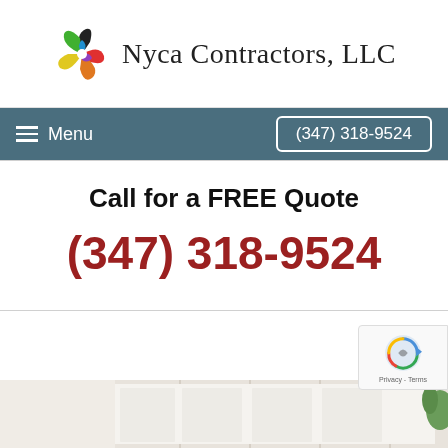[Figure (logo): Nyca Contractors LLC logo with colorful swirl icon and company name]
Menu  (347) 318-9524
Call for a FREE Quote
(347) 318-9524
[Figure (photo): Partial view of white interior cabinets with plants at the bottom of the page]
[Figure (other): reCAPTCHA badge with Privacy and Terms links]